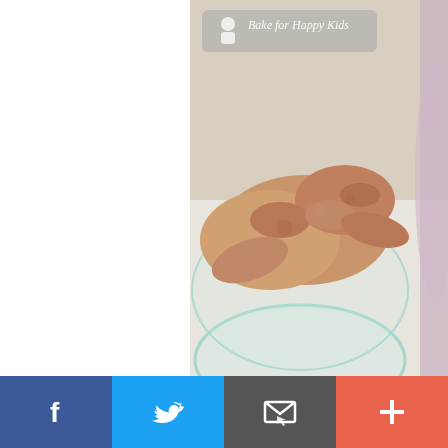[Figure (photo): Photo of fresh turmeric root in a glass bowl, with watermark logo 'Bake for Happy Kids' in top-left corner, and text overlay 'fresh turmeric root' in italic white font at the bottom. A second partially visible image on the right edge shows a red onion.]
Chopping the eschallots, turme
[Figure (photo): Photo of dried chillies, deseeded and soaked in hot water, shown as red cylindrical pieces on a white plate. Text overlay reads 'dried chillies deseeded and soaked in hot water' in italic white font. A second partial image is visible on the right edge.]
f  [Twitter bird icon]  [Email icon]  +